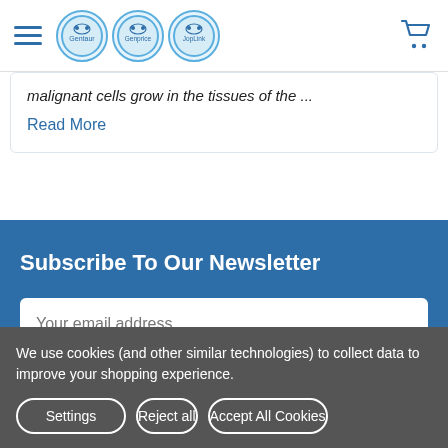Gentaur Genprice JopLink navigation header with hamburger menu and cart icon
malignant cells grow in the tissues of the ...
Read More
Subscribe To Our Newsletter
Your email address
We use cookies (and other similar technologies) to collect data to improve your shopping experience.
Settings  Reject all  Accept All Cookies